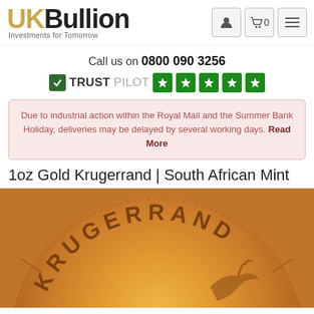[Figure (logo): UK Bullion logo with golden UK text and black Bullion text, tagline: Investments for Tomorrow]
Call us on 0800 090 3256
[Figure (other): Trustpilot rating with 5 green stars]
Due to industrial action within the Royal Mail and the Summer Bank Holiday, deliveries may be delayed by several working days. Read More
1oz Gold Krugerrand | South African Mint
[Figure (photo): Close-up photo of a gold Krugerrand coin showing the text KRUGERRAND on the coin edge]